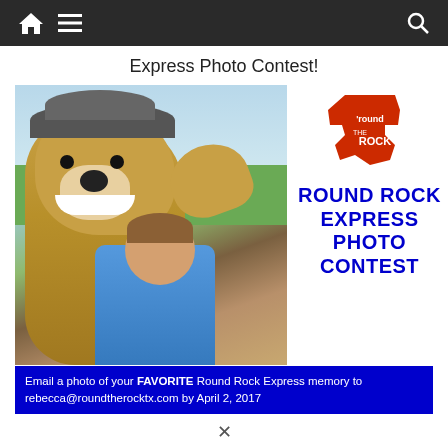Navigation bar with home, menu, and search icons
Express Photo Contest!
[Figure (photo): A child in a blue Round Rock Express t-shirt posing with the Round Rock Express mascot (a bulldog in a cap) at a baseball stadium, both raising their fists. The right side shows the 'round the ROCK logo (red Texas silhouette) and bold blue text reading ROUND ROCK EXPRESS PHOTO CONTEST.]
Email a photo of your FAVORITE Round Rock Express memory to rebecca@roundtherocktx.com by April 2, 2017